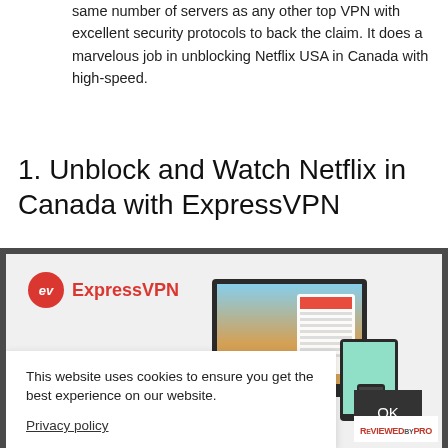same number of servers as any other top VPN with excellent security protocols to back the claim. It does a marvelous job in unblocking Netflix USA in Canada with high-speed.
1. Unblock and Watch Netflix in Canada with ExpressVPN
[Figure (screenshot): ExpressVPN promotional screenshot showing the ExpressVPN logo and multiple devices (laptop, tablet, phone) running the VPN application interface]
This website uses cookies to ensure you get the best experience on our website.
Privacy policy
OK